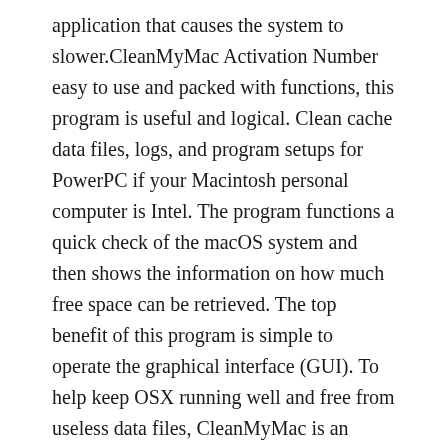application that causes the system to slower.CleanMyMac Activation Number easy to use and packed with functions, this program is useful and logical. Clean cache data files, logs, and program setups for PowerPC if your Macintosh personal computer is Intel. The program functions a quick check of the macOS system and then shows the information on how much free space can be retrieved. The top benefit of this program is simple to operate the graphical interface (GUI). To help keep OSX running well and free from useless data files, CleanMyMac is an outstanding collection of tools that perform this kind of maintenance. In simply a nice and intuitive program, you tidy up caches, delete needless files, and much more.
Features: